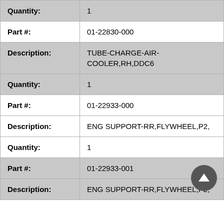| Quantity: | 1 |
| Part #: | 01-22830-000 |
| Description: | TUBE-CHARGE-AIR-COOLER,RH,DDC6 |
| Quantity: | 1 |
| Part #: | 01-22933-000 |
| Description: | ENG SUPPORT-RR,FLYWHEEL,P2, |
| Quantity: | 1 |
| Part #: | 01-22933-001 |
| Description: | ENG SUPPORT-RR,FLYWHEEL,P2, |